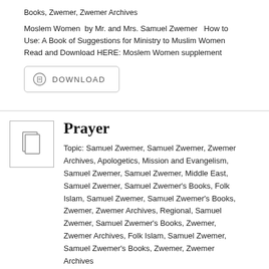Books, Zwemer, Zwemer Archives
Moslem Women  by Mr. and Mrs. Samuel Zwemer   How to Use: A Book of Suggestions for Ministry to Muslim Women Read and Download HERE: Moslem Women supplement
[Figure (other): Download button with document icon and DOWNLOAD label]
Prayer
Topic: Samuel Zwemer, Samuel Zwemer, Zwemer Archives, Apologetics, Mission and Evangelism, Samuel Zwemer, Samuel Zwemer, Middle East, Samuel Zwemer, Samuel Zwemer's Books, Folk Islam, Samuel Zwemer, Samuel Zwemer's Books, Zwemer, Zwemer Archives, Regional, Samuel Zwemer, Samuel Zwemer's Books, Zwemer, Zwemer Archives, Folk Islam, Samuel Zwemer, Samuel Zwemer's Books, Zwemer, Zwemer Archives